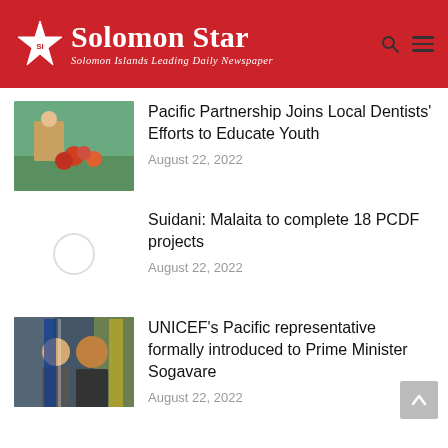Solomon Star — Solomon Islands Leading Daily Newspaper
Pacific Partnership Joins Local Dentists' Efforts to Educate Youth
August 22, 2022
Suidani: Malaita to complete 18 PCDF projects
August 22, 2022
UNICEF's Pacific representative formally introduced to Prime Minister Sogavare
August 22, 2022